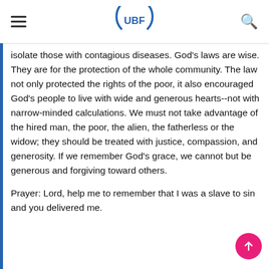UBF
isolate those with contagious diseases. God's laws are wise. They are for the protection of the whole community. The law not only protected the rights of the poor, it also encouraged God's people to live with wide and generous hearts--not with narrow-minded calculations. We must not take advantage of the hired man, the poor, the alien, the fatherless or the widow; they should be treated with justice, compassion, and generosity. If we remember God's grace, we cannot but be generous and forgiving toward others.
Prayer: Lord, help me to remember that I was a slave to sin and you delivered me.